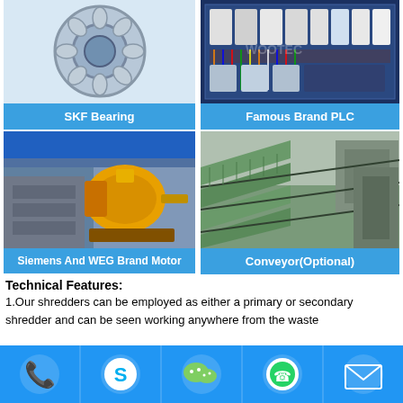[Figure (photo): SKF Bearing product photo - spherical roller bearing on light blue/white background]
SKF Bearing
[Figure (photo): Famous Brand PLC - electrical control panel with multiple PLCs and wiring on blue rack]
Famous Brand PLC
[Figure (photo): Siemens And WEG Brand Motor - yellow industrial motor mounted on industrial machinery]
Siemens And WEG Brand Motor
[Figure (photo): Conveyor system - green belt conveyor with multiple parallel lanes in factory]
Conveyor(Optional)
Technical Features:
1.Our shredders can be employed as either a primary or secondary shredder and can be seen working anywhere from the waste
[Figure (infographic): Blue footer bar with contact icons: phone, Skype, WeChat, WhatsApp, email]